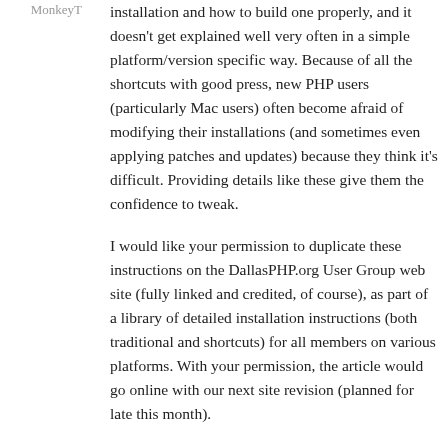MonkeyT
installation and how to build one properly, and it doesn't get explained well very often in a simple platform/version specific way. Because of all the shortcuts with good press, new PHP users (particularly Mac users) often become afraid of modifying their installations (and sometimes even applying patches and updates) because they think it's difficult. Providing details like these give them the confidence to tweak.
I would like your permission to duplicate these instructions on the DallasPHP.org User Group web site (fully linked and credited, of course), as part of a library of detailed installation instructions (both traditional and shortcuts) for all members on various platforms. With your permission, the article would go online with our next site revision (planned for late this month).